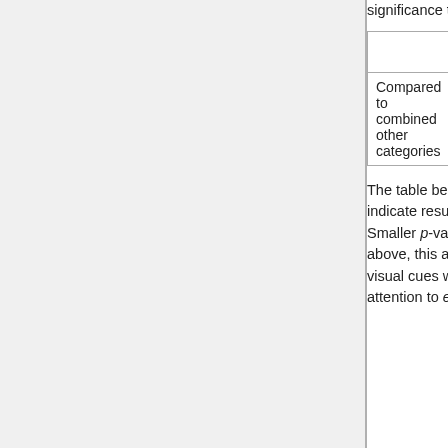significance tests.
|  | 18 to 24 | 25 to 29 | 30 to 39 | 40 to 49 | 50 to 54 |
| --- | --- | --- | --- | --- | --- |
| Compared to combined other categories | .0033 | .6500 | .0443 | .0055 | .815 |
The table below shows the significance tests for all the cells in the table. Arrows are used to indicate results significant at the 0.05 level. The length of the arrows is determined by the p-value. Smaller p-values are represented by longer arrows. In contrast to the column comparisons shown above, this approach to representing significance is a little easier to read as the arrows provide visual cues which highlight the nature of the patterns in the data and thus draws the reader's attention to exceptions.